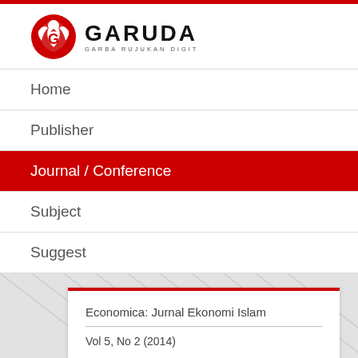[Figure (logo): GARUDA - Garba Rujukan Digital logo with red eagle icon and bold black text]
Home
Publisher
Journal / Conference
Subject
Suggest
Economica: Jurnal Ekonomi Islam
Vol 5, No 2 (2014)